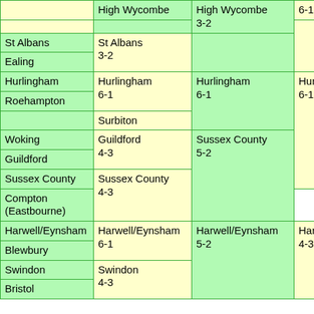| Col1 | Col2 | Col3 | Col4 |
| --- | --- | --- | --- |
|  | High Wycombe |  | 6-1 |
|  |  | High Wycombe 3-2 |  |
| St Albans | St Albans 3-2 |  |  |
| Ealing |  |  |  |
| Hurlingham | Hurlingham 6-1 |  |  |
| Roehampton |  | Hurlingham 6-1 |  |
|  | Surbiton |  | Hurlin 6-1 |
| Woking | Guildford 4-3 |  |  |
| Guildford |  | Sussex County 5-2 |  |
| Sussex County | Sussex County 4-3 |  |  |
| Compton (Eastbourne) |  |  |  |
| Harwell/Eynsham | Harwell/Eynsham 6-1 |  |  |
| Blewbury |  | Harwell/Eynsham 5-2 |  |
| Swindon | Swindon 4-3 |  |  |
| Bristol |  |  | Harwe 4-3 |